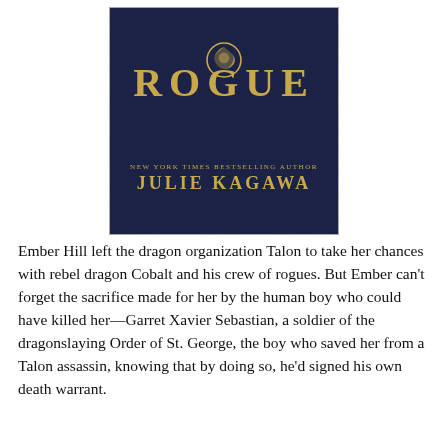[Figure (illustration): Book cover of 'Rogue' by Julie Kagawa. Dark navy blue textured leather background with gold title text 'ROGUE' at the top center, a circular emblem with a dragon/creature design replacing the letter O, and below in gold text 'NEW YORK TIMES BESTSELLING AUTHOR' and 'JULIE KAGAWA'.]
Ember Hill left the dragon organization Talon to take her chances with rebel dragon Cobalt and his crew of rogues. But Ember can't forget the sacrifice made for her by the human boy who could have killed her—Garret Xavier Sebastian, a soldier of the dragonslaying Order of St. George, the boy who saved her from a Talon assassin, knowing that by doing so, he'd signed his own death warrant.